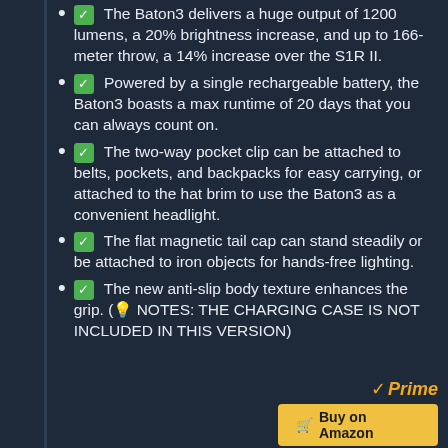✅ The Baton3 delivers a huge output of 1200 lumens, a 20% brightness increase, and up to 166-meter throw, a 14% increase over the S1R II.
✅ Powered by a single rechargeable battery, the Baton3 boasts a max runtime of 20 days that you can always count on.
✅ The two-way pocket clip can be attached to belts, pockets, and backpacks for easy carrying, or attached to the hat brim to use the Baton3 as a convenient headlight.
✅ The flat magnetic tail cap can stand steadily or be attached to iron objects for hands-free lighting.
✅ The new anti-slip body texture enhances the grip. (💡 NOTES: THE CHARGING CASE IS NOT INCLUDED IN THIS VERSION)
[Figure (logo): Amazon Prime logo with gold checkmark and italic Prime text, plus Buy on Amazon button]